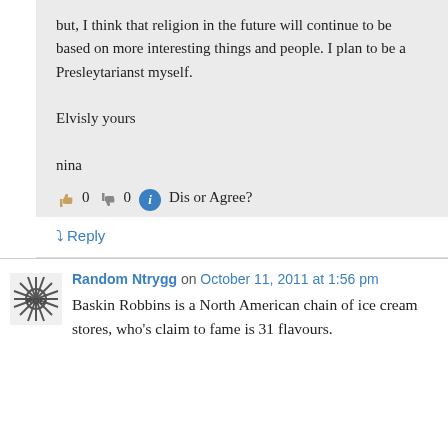but, I think that religion in the future will continue to be based on more interesting things and people. I plan to be a Presleytarianst myself.

Elvisly yours

nina
👍 0 👎 0 ℹ Dis or Agree?
↪ Reply
Random Ntrygg on October 11, 2011 at 1:56 pm
Baskin Robbins is a North American chain of ice cream stores, who's claim to fame is 31 flavours.